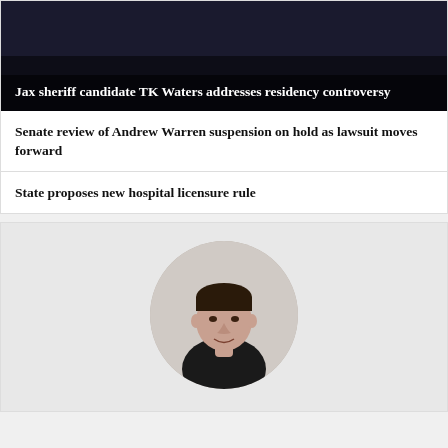[Figure (photo): Banner image with dark overlay showing two people, with bold white text headline about Jax sheriff candidate TK Waters]
Jax sheriff candidate TK Waters addresses residency controversy
Senate review of Andrew Warren suspension on hold as lawsuit moves forward
State proposes new hospital licensure rule
[Figure (photo): Circular portrait photo of a middle-aged man with dark hair, wearing a dark jacket, on a light gray background]